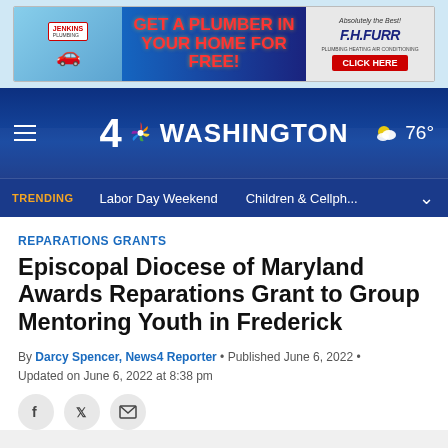[Figure (other): Advertisement banner: F.H. Furr plumbing company ad - GET A PLUMBER IN YOUR HOME FOR FREE! CLICK HERE]
[Figure (other): NBC 4 Washington news website header with logo, hamburger menu, and weather showing 76 degrees]
[Figure (other): Trending navigation bar showing: TRENDING | Labor Day Weekend | Children & Cellph...]
REPARATIONS GRANTS
Episcopal Diocese of Maryland Awards Reparations Grant to Group Mentoring Youth in Frederick
By Darcy Spencer, News4 Reporter • Published June 6, 2022 • Updated on June 6, 2022 at 8:38 pm
[Figure (other): Social sharing icons: Facebook, Twitter, Email]